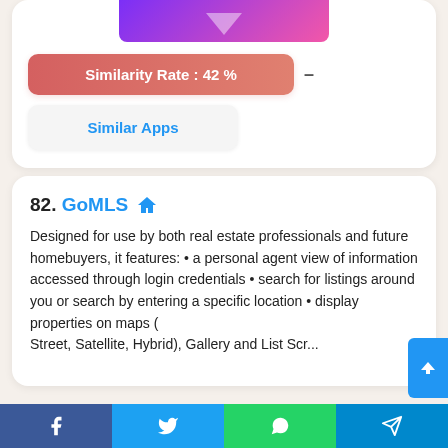[Figure (other): App icon partial view with purple-to-pink gradient and white arrow shape]
Similarity Rate : 42 %
Similar Apps
82. GoMLS  Designed for use by both real estate professionals and future homebuyers, it features: • a personal agent view of information accessed through login credentials • search for listings around you or search by entering a specific location • display properties on maps ( Street, Satellite, Hybrid), Gallery and List Scr...
[Figure (other): Bottom social share navigation bar with Facebook, Twitter, WhatsApp, Telegram buttons]